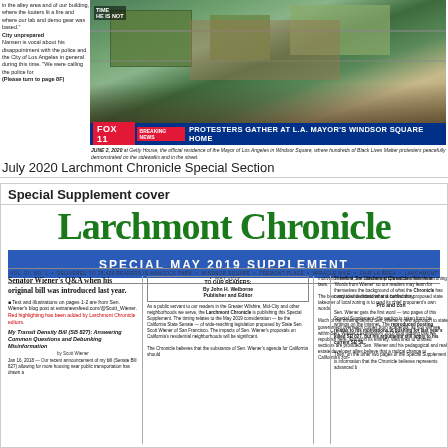in the alley area and of our building, where the looters lit a fire and where our lab and demo gear was based. City unprepared. Nansen is vocal about his disappointment with the police and the City of Los Angeles in general during this time. "We were calling the police for (Please turn to page 8F)
[Figure (screenshot): FOX 11 news screenshot showing aerial view of protesters at L.A. Mayor's Windsor Square home with breaking news banner]
JUNE 2, 2020 at Getty House, the official residence of the Mayor of Los Angeles in Windsor Square, where hundreds of Black Lives Matter protesters peacefully demonstrated on the sidewalks and in the street.
July 2020 Larchmont Chronicle Special Section
Special Supplement cover
Larchmont Chronicle
SPECIAL MAY 2019 SUPPLEMENT
VOL. 37, NO. 1 • DELIVERED TO 75,429 READERS IN HANCOCK PARK • WINDSOR SQUARE • FREMONT PLACE • MIRACLE MILE • FAIR LA BREA • LARCHMONT • MAY 2019
Senator Wiener's Q&A when his original bill was introduced last year.
Text and illustrations on pages 1-2 are from Sen. Wiener's blog post at extranewsfeed.com/@Scott_Wiener. Red highlighting has been added by Larchmont Chronicle editors.
My Transit Density Bill (SB 827): Answering Common Questions and Debunking Misinformation by Scott Wiener
Jan 16, 2018 — Our recent announcement of my bill (Senate Bill 827) allowing for more housing near public transportation has drawn a
TO OUR READERS: By John H. Welborne Publisher and Editor
As a public servant to our readers in the Greater Wilshire, Mid-City and other neighborhoods we serve, the Larchmont Chronicle is publishing this Special Supplement. The timing relates to the May 2019 consideration — be the California State Senate — of wide-reaching legislation proposed by State Sen. Scott Wiener of San Francisco. The impacts of Sen. Wiener's proposals on California's residential neighborhoods will be significant.
The Chronicle believes that the substance of Sen. Wiener's agenda for California should
motivation behind Sen. Wiener's proposed new statewide zoning laws.
The best way to understand what is behind this proposed state takeover of local zoning is to read its chief proponent's own words.
Much of the thinking behind Sen. Wiener's new approach to state government overreach comes from academia, as you will see within Sen. Wiener's explanatory 2018 blog posting that we republish here, almost in its entirety. Web links to omitted sections are provided. Sen. Wiener and his pedagogical and real estate developer allies believe that a radical change to California's zon-
Therefore, the Larchmont Chronicle offers these 'Words from Wiener' so our readers may learn for themselves the background of what the Chronicle has concluded is dictatorial and confiscatory.
Pro and con
Sen. Wiener gets the first word — two pages of this Special Supplement. His portion is taken from his writings on the Internet. The reproduced posting relates to his motivations in pushing for last year's killed SB 827, but his arguments still apply to his current SB 50.
Then, on the other two pages of the Special Supplement is information that the Chronicle believes represents advanced b